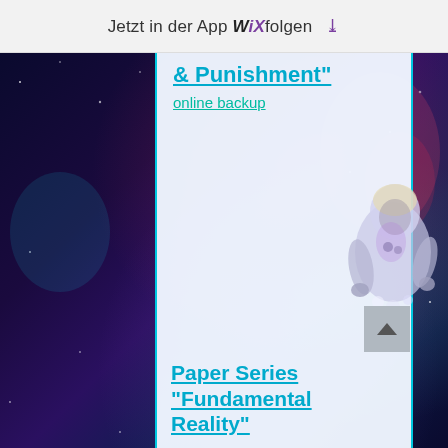Jetzt in der App WiX folgen ↓
& Punishment"
online backup
Paper Series "Fundamental Reality"